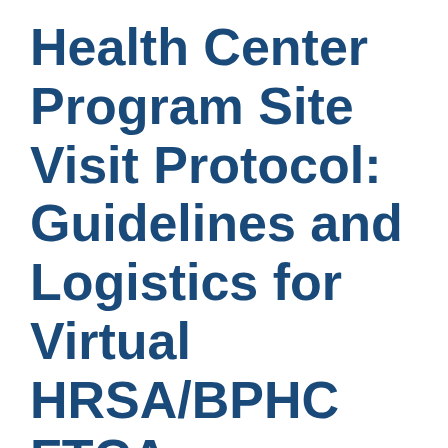Health Center Program Site Visit Protocol: Guidelines and Logistics for Virtual HRSA/BPHC FTCA